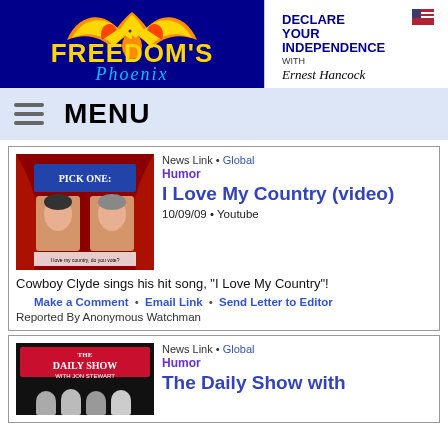[Figure (logo): Freedom's Phoenix logo with phoenix bird on dark blue background]
[Figure (logo): Declare Your Independence with Ernest Hancock logo]
MENU
News Link • Global
Humor
I Love My Country (video)
10/09/09 • Youtube
Cowboy Clyde sings his hit song, "I Love My Country"!
Make a Comment • Email Link • Send Letter to Editor
Reported By Anonymous Watchman
News Link • Global
Humor
The Daily Show with